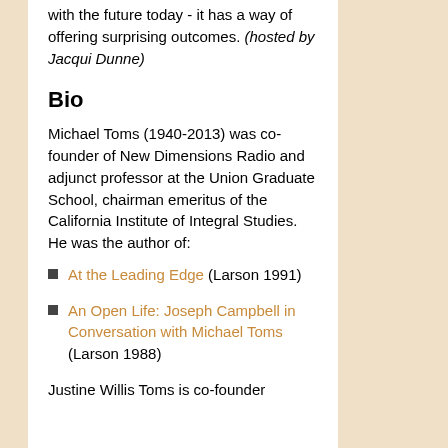with the future today - it has a way of offering surprising outcomes. (hosted by Jacqui Dunne)
Bio
Michael Toms (1940-2013) was co-founder of New Dimensions Radio and adjunct professor at the Union Graduate School, chairman emeritus of the California Institute of Integral Studies. He was the author of:
At the Leading Edge (Larson 1991)
An Open Life: Joseph Campbell in Conversation with Michael Toms (Larson 1988)
Justine Willis Toms is co-founder